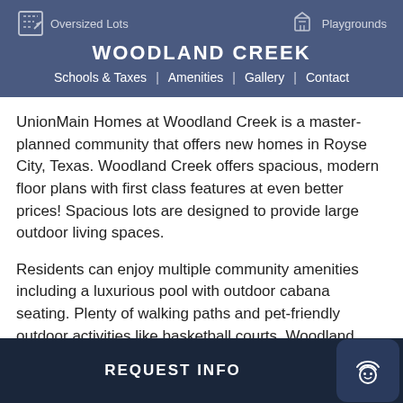WOODLAND CREEK | Schools & Taxes | Amenities | Gallery | Contact | Oversized Lots | Playgrounds
UnionMain Homes at Woodland Creek is a master-planned community that offers new homes in Royse City, Texas. Woodland Creek offers spacious, modern floor plans with first class features at even better prices! Spacious lots are designed to provide large outdoor living spaces.
Residents can enjoy multiple community amenities including a luxurious pool with outdoor cabana seating. Plenty of walking paths and pet-friendly outdoor activities like basketball courts. Woodland Creek is just minutes away from award winning
REQUEST INFO